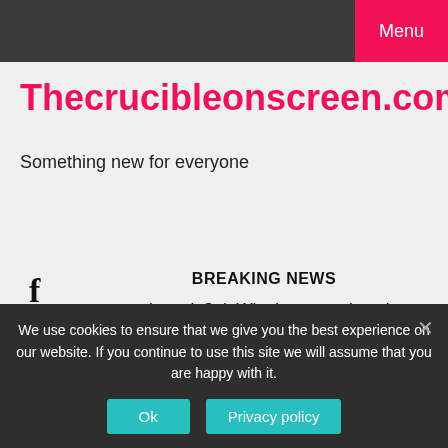Menu
Thecrucibleonscreen.com
Something new for everyone
BREAKING NEWS
constructive role?  |  Why is research so important?  |  Did A
30/08/2022
We use cookies to ensure that we give you the best experience on our website. If you continue to use this site we will assume that you are happy with it.
Ok
Privacy policy